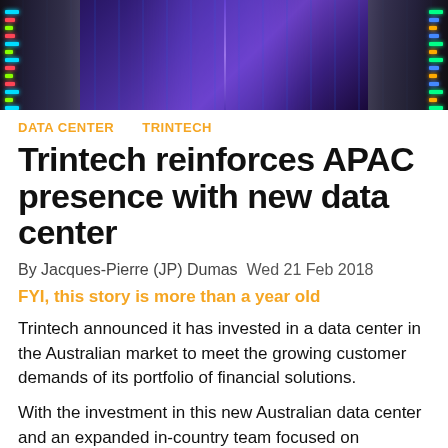[Figure (photo): Data center corridor with blue/purple lighting, server racks on both sides receding into the distance]
DATA CENTER    TRINTECH
Trintech reinforces APAC presence with new data center
By Jacques-Pierre (JP) Dumas  Wed 21 Feb 2018
FYI, this story is more than a year old
Trintech announced it has invested in a data center in the Australian market to meet the growing customer demands of its portfolio of financial solutions.
With the investment in this new Australian data center and an expanded in-country team focused on